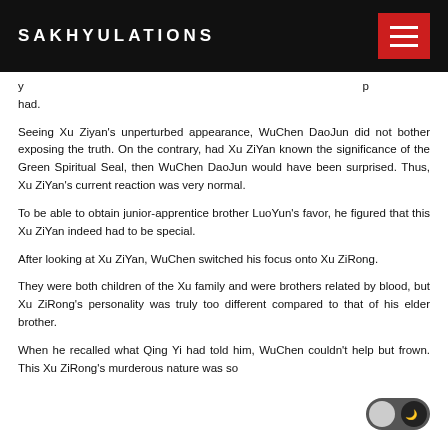SAKHYULATIONS
y had.
Seeing Xu Ziyan's unperturbed appearance, WuChen DaoJun did not bother exposing the truth. On the contrary, had Xu ZiYan known the significance of the Green Spiritual Seal, then WuChen DaoJun would have been surprised. Thus, Xu ZiYan's current reaction was very normal.
To be able to obtain junior-apprentice brother LuoYun's favor, he figured that this Xu ZiYan indeed had to be special.
After looking at Xu ZiYan, WuChen switched his focus onto Xu ZiRong.
They were both children of the Xu family and were brothers related by blood, but Xu ZiRong's personality was truly too different compared to that of his elder brother.
When he recalled what Qing Yi had told him, WuChen couldn't help but frown. This Xu ZiRong's murderous nature was so